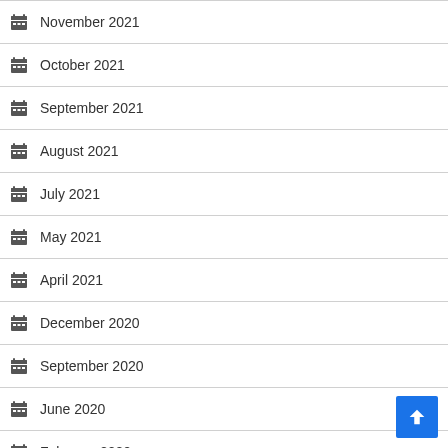November 2021
October 2021
September 2021
August 2021
July 2021
May 2021
April 2021
December 2020
September 2020
June 2020
February 2020
October 2019
September 2019